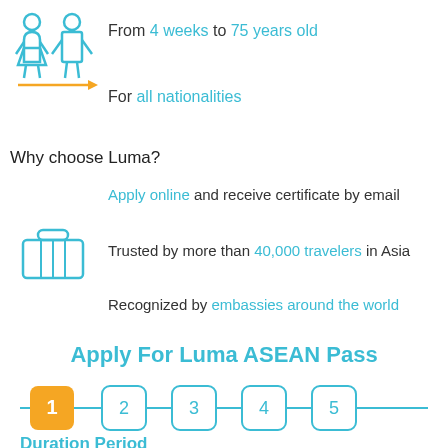[Figure (illustration): Two person silhouettes (adult figures) in cyan/teal color with an orange arrow pointing right beneath them]
From 4 weeks to 75 years old
For all nationalities
Why choose Luma?
Apply online and receive certificate by email
[Figure (illustration): Cyan/teal suitcase/luggage icon]
Trusted by more than 40,000 travelers in Asia
Recognized by embassies around the world
Apply For Luma ASEAN Pass
[Figure (infographic): A 5-step horizontal progress indicator. Step 1 is highlighted with an orange filled rounded square. Steps 2-5 are cyan outlined rounded squares. All connected by a cyan horizontal line.]
Duration Period